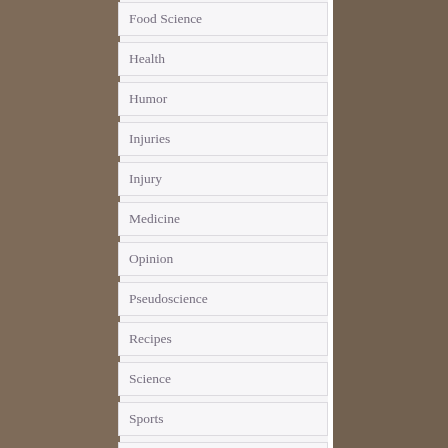Food Science
Health
Humor
Injuries
Injury
Medicine
Opinion
Pseudoscience
Recipes
Science
Sports
Uncategorized